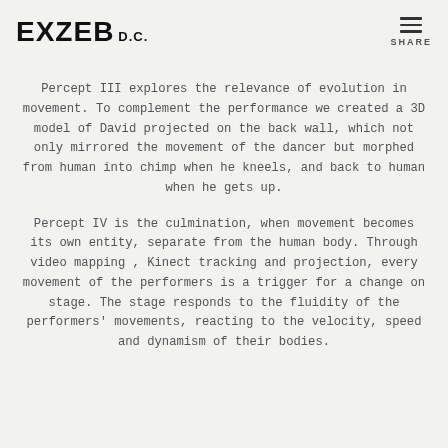EXZEB D.C.  SHARE
Percept III explores the relevance of evolution in movement. To complement the performance we created a 3D model of David projected on the back wall, which not only mirrored the movement of the dancer but morphed from human into chimp when he kneels, and back to human when he gets up.
Percept IV is the culmination, when movement becomes its own entity, separate from the human body. Through video mapping , Kinect tracking and projection, every movement of the performers is a trigger for a change on stage. The stage responds to the fluidity of the performers' movements, reacting to the velocity, speed and dynamism of their bodies.